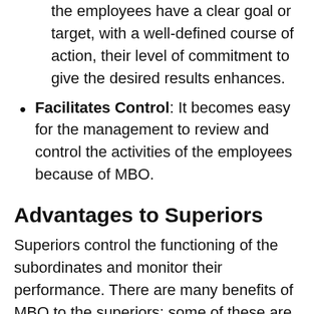the employees have a clear goal or target, with a well-defined course of action, their level of commitment to give the desired results enhances.
Facilitates Control: It becomes easy for the management to review and control the activities of the employees because of MBO.
Advantages to Superiors
Superiors control the functioning of the subordinates and monitor their performance. There are many benefits of MBO to the superiors; some of these are explained below: